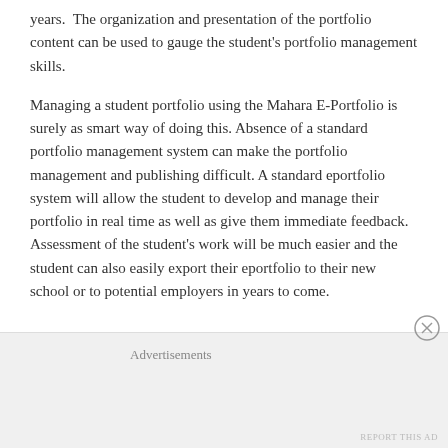years.  The organization and presentation of the portfolio content can be used to gauge the student's portfolio management skills.
Managing a student portfolio using the Mahara E-Portfolio is surely as smart way of doing this. Absence of a standard portfolio management system can make the portfolio management and publishing difficult. A standard eportfolio system will allow the student to develop and manage their portfolio in real time as well as give them immediate feedback.  Assessment of the student's work will be much easier and the student can also easily export their eportfolio to their new school or to potential employers in years to come.
Advertisements